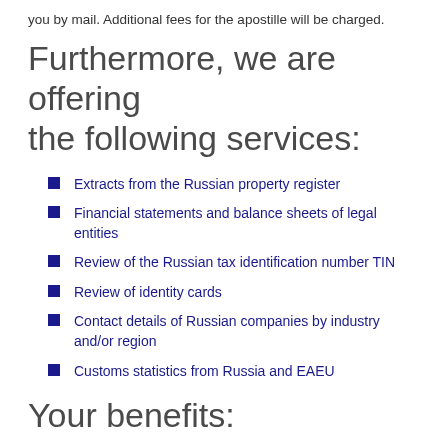you by mail. Additional fees for the apostille will be charged.
Furthermore, we are offering the following services:
Extracts from the Russian property register
Financial statements and balance sheets of legal entities
Review of the Russian tax identification number TIN
Review of identity cards
Contact details of Russian companies by industry and/or region
Customs statistics from Russia and EAEU
Your benefits:
Fast and reliable processing